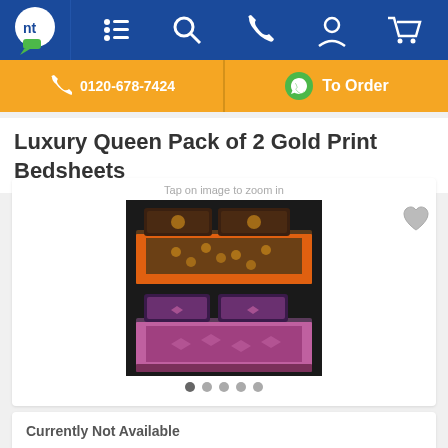[Figure (screenshot): E-commerce website navigation bar with blue background, nt logo, menu icon, search icon, phone icon, user icon, and cart icon]
[Figure (infographic): Orange call-to-action bar with phone number 0120-678-7424 on left and WhatsApp To Order button on right]
Luxury Queen Pack of 2 Gold Print Bedsheets
[Figure (photo): Product image gallery showing two bedsheet sets: top image shows an orange/brown gold print bedsheet with two pillows on a dark background; bottom image shows a purple/magenta bedsheet with two dark pillows on a dark background. A heart/wishlist icon is visible in top right of gallery. Five navigation dots are shown below with the first dot active.]
Currently Not Available